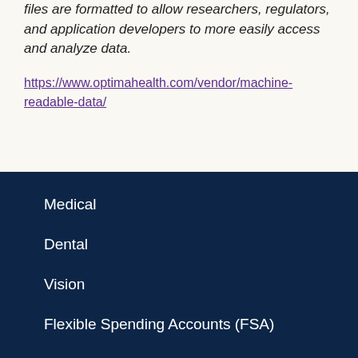files are formatted to allow researchers, regulators, and application developers to more easily access and analyze data.
https://www.optimahealth.com/vendor/machine-readable-data/
Medical
Dental
Vision
Flexible Spending Accounts (FSA)